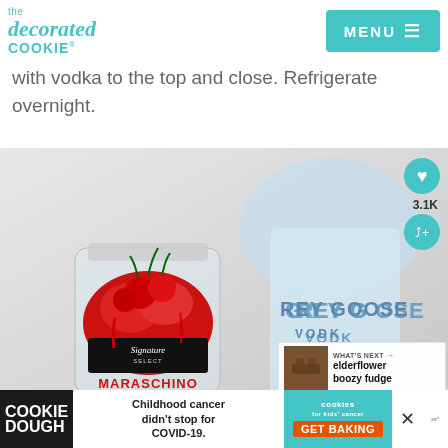the decorated cookie – MENU
with vodka to the top and close. Refrigerate overnight.
[Figure (photo): A jar of Signature Select Maraschino cherries next to a Grey Goose Vodka bottle, on a light grey background]
WHAT'S NEXT → elderflower boozy fudge
Childhood cancer didn't stop for COVID-19. GET BAKING